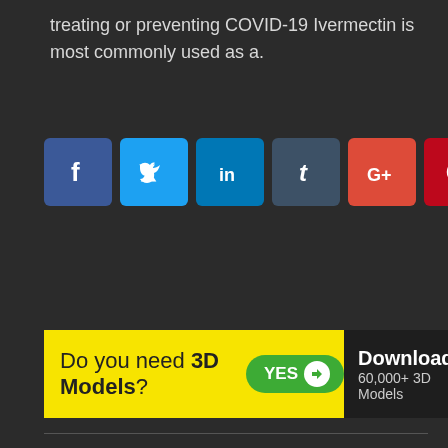treating or preventing COVID-19 Ivermectin is most commonly used as a.
[Figure (infographic): Row of social media share buttons: Facebook (blue), Twitter (light blue), LinkedIn (blue), Tumblr (dark slate), Google+ (red-orange), Pinterest (red), VK (gray), Email (green)]
[Figure (infographic): Advertisement banner: yellow section reading 'Do you need 3D Models?' with a green YES toggle button, and dark section reading 'Download 60,000+ 3D Models']
PREV
[Animation] Rollin’ France – what if animals ...
3DM3 / OCTOBER 9, 2018
Warning: A